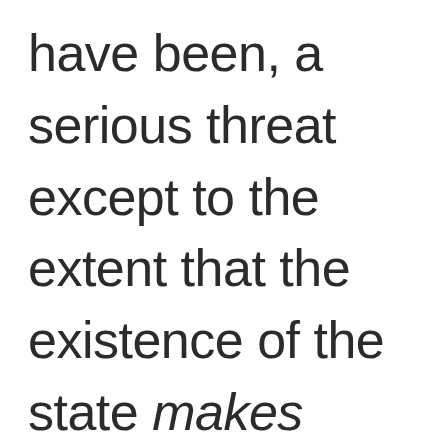have been, a serious threat except to the extent that the existence of the state makes them one. However, I